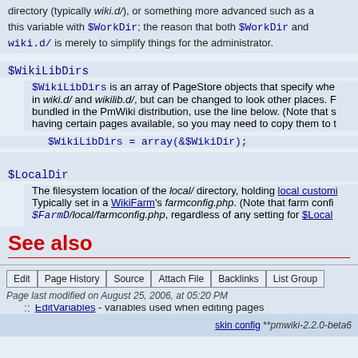directory (typically wiki.d/), or something more advanced such as a this variable with $WorkDir; the reason that both $WorkDir and wiki.d/ is merely to simplify things for the administrator.
$WikiLibDirs
$WikiLibDirs is an array of PageStore objects that specify where in wiki.d/ and wikilib.d/, but can be changed to look other places. bundled in the PmWiki distribution, use the line below. (Note that s having certain pages available, so you may need to copy them to t
$LocalDir
The filesystem location of the local/ directory, holding local customizations. Typically set in a WikiFarm's farmconfig.php. (Note that farm config $FarmD/local/farmconfig.php, regardless of any setting for $Local
See also
LayoutVariables for URL layout options
LinkVariables - variables that control the display of links in pages
EditVariables - variables used when editing pages
UploadVariables - variables used for uploads/attachments
Edit | Page History | Source | Attach File | Backlinks | List Group
Page last modified on August 25, 2006, at 05:20 PM
skin config ** pmwiki-2.2.0-beta6